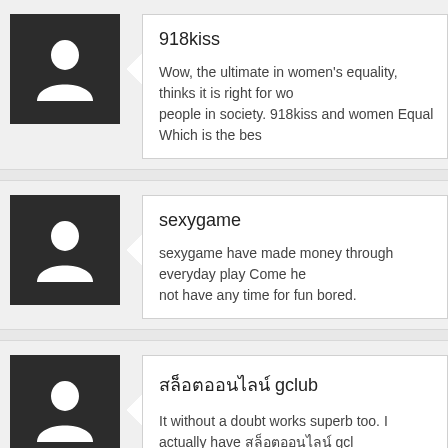[Figure (illustration): User avatar: dark grey square with white silhouette person icon]
918kiss
Wow, the ultimate in women's equality, thinks it is right for wo... people in society. 918kiss and women Equal Which is the bes...
[Figure (illustration): User avatar: dark grey square with white silhouette person icon]
sexygame
sexygame have made money through everyday play Come he... not have any time for fun bored.
[Figure (illustration): User avatar: dark grey square with white silhouette person icon]
สล็อตออนไลน์ gclub
It without a doubt works superb too. I actually have สล็อตออนไลน์ gcl... position up and keep to tell. Let others get to knowHello.